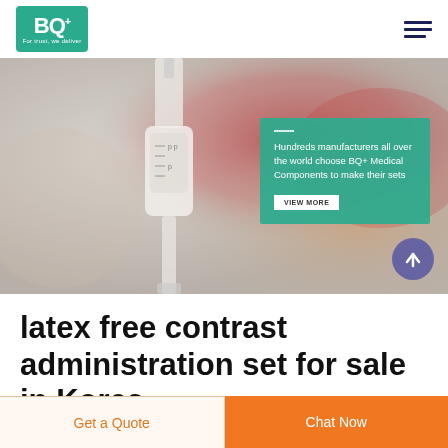[Figure (logo): BQ+ Medical Components logo — green rounded square with BQ+ text and tagline 'For trust, we deliver']
[Figure (photo): Close-up photo of medical IV drip chamber / contrast administration set components, blurred background with red and beige tones]
Hundreds manufacturers all over the world choose BQ+ Medical Components to make their sets
latex free contrast administration set for sale in Korea
Get a Quote
Chat Now